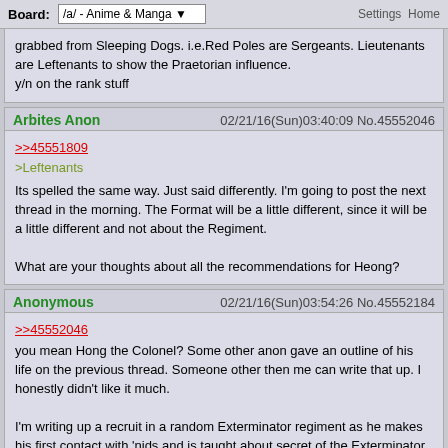Board: /a/ - Anime & Manga  Settings  Home
grabbed from Sleeping Dogs. i.e.Red Poles are Sergeants. Lieutenants are Leftenants to show the Praetorian influence. y/n on the rank stuff
Arbites Anon  02/21/16(Sun)03:40:09 No.45552046
>>45551809
>Leftenants
Its spelled the same way. Just said differently. I'm going to post the next thread in the morning. The Format will be a little different, since it will be a little different and not about the Regiment.

What are your thoughts about all the recommendations for Heong?
Anonymous  02/21/16(Sun)03:54:26 No.45552184
>>45552046
you mean Hong the Colonel? Some other anon gave an outline of his life on the previous thread. Someone other then me can write that up. I honestly didn't like it much.

I'm writing up a recruit in a random Exterminator regiment as he makes his first contact with 'nids and is taught about secret of the Exterminator regiments
Anonymous  02/21/16(Sun)03:59:10 No.45552247